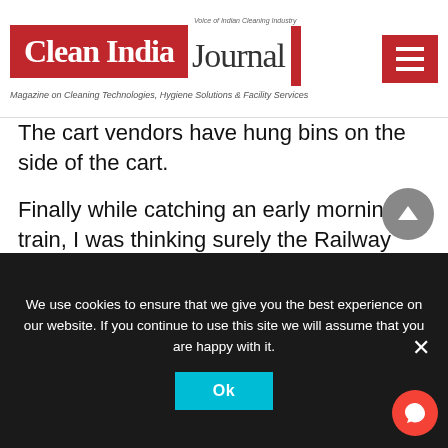Clean India Journal — Magazine on Cleaning Technologies, Hygiene Solutions & Facility Services
The cart vendors have hung bins on the side of the cart.

Finally while catching an early morning train, I was thinking surely the Railway Station may not be clean. To my utter surprise, the station was spick and span. I was looking for a fruit vendor. But I couldn't find one in the entire station. No wonder there were no mosquitoes or flies or bees anywhere
We use cookies to ensure that we give you the best experience on our website. If you continue to use this site we will assume that you are happy with it.